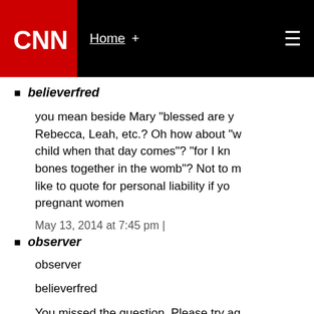CNN | Home +
believerfred
you mean beside Mary "blessed are y... Rebecca, Leah, etc.? Oh how about "w... child when that day comes"? "for I kn... bones together in the womb"? Not to m... like to quote for personal liability if yo... pregnant women
May 13, 2014 at 7:45 pm |
observer
observer
believerfred
You missed the question. Please try ag...
God gave a long list of commands to...
Did he EVER ONCE say he gave a rin...